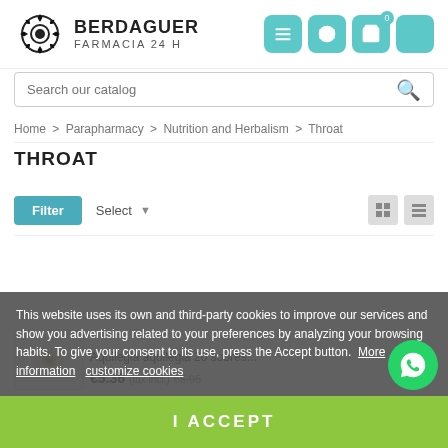[Figure (logo): Berdaguer Farmacia 24H logo with circular saw blade icon]
Search our catalog
Home > Parapharmacy > Nutrition and Herbalism > Throat
THROAT
Filter   Select   [grid view] [list view]
Aquilegia aquilegia 20 sobres... €5.36 (tax incl.) €5.95
This website uses its own and third-party cookies to improve our services and show you advertising related to your preferences by analyzing your browsing habits. To give your consent to its use, press the Accept button.  More information   customize cookies
I ACCEPT